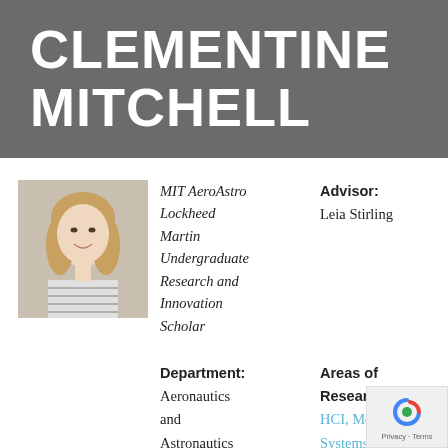CLEMENTINE MITCHELL
[Figure (photo): Portrait photo of Clementine Mitchell, a young woman with long blonde hair, smiling, wearing a striped shirt]
MIT AeroAstro Lockheed Martin Undergraduate Research and Innovation Scholar
Advisor: Leia Stirling
Department: Aeronautics and Astronautics
Areas of Research: HCI, Mobile Systems, and